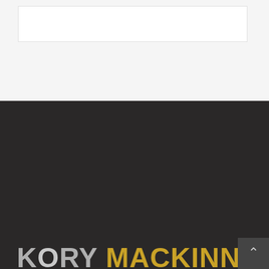[Figure (other): Top light grey banner/header area with a white rectangular box inside]
KORY MACKINNON
We want to help you achieve break through results in real estate. Either individually or for your group, please let us know how we can assist you with our lifetime of knowledge, systems and strategies. We are